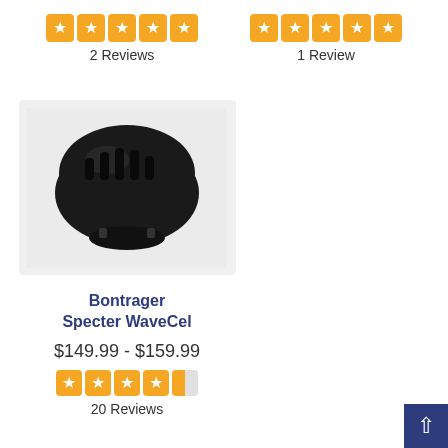[Figure (infographic): 5 orange star rating icons]
2 Reviews
[Figure (infographic): 5 orange star rating icons]
1 Review
[Figure (photo): Black Bontrager bicycle helmet on grey background]
Bontrager Specter WaveCel
$149.99 - $159.99
[Figure (infographic): 4.5 orange star rating icons]
20 Reviews